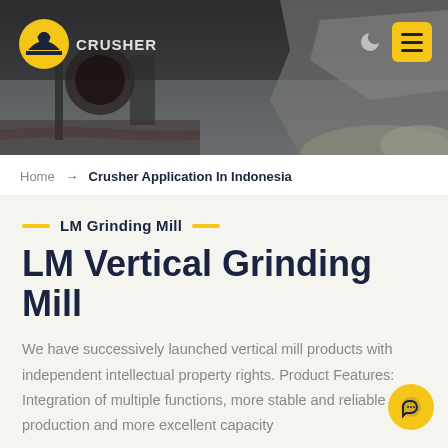[Figure (photo): Industrial crusher/mining equipment banner photo with dark rocky quarry background]
CRUSHER (logo) | Home → Crusher Application In Indonesia
Home → Crusher Application In Indonesia
LM Grinding Mill
LM Vertical Grinding Mill
We have successively launched vertical mill products with independent intellectual property rights. Product Features: Integration of multiple functions, more stable and reliable production and more excellent capacity